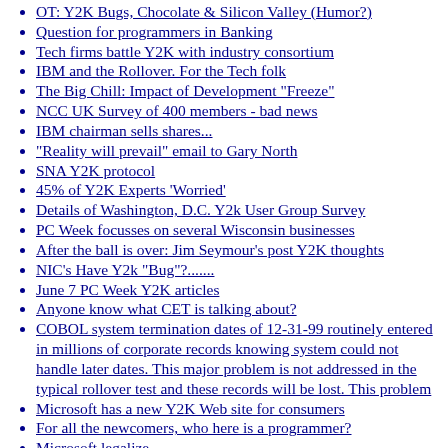OT: Y2K Bugs, Chocolate & Silicon Valley (Humor?)
Question for programmers in Banking
Tech firms battle Y2K with industry consortium
IBM and the Rollover. For the Tech folk
The Big Chill: Impact of Development "Freeze"
NCC UK Survey of 400 members - bad news
IBM chairman sells shares...
"Reality will prevail" email to Gary North
SNA Y2K protocol
45% of Y2K Experts 'Worried'
Details of Washington, D.C. Y2k User Group Survey
PC Week focusses on several Wisconsin businesses
After the ball is over: Jim Seymour's post Y2K thoughts
NIC's Have Y2k "Bug"?.......
June 7 PC Week Y2K articles
Anyone know what CET is talking about?
COBOL system termination dates of 12-31-99 routinely entered in millions of corporate records knowing system could not handle later dates. This major problem is not addressed in the typical rollover test and these records will be lost. This problem
Microsoft has a new Y2K Web site for consumers
For all the newcomers, who here is a programmer?
Microsoft legalize
Business services firms boosted by Y2K